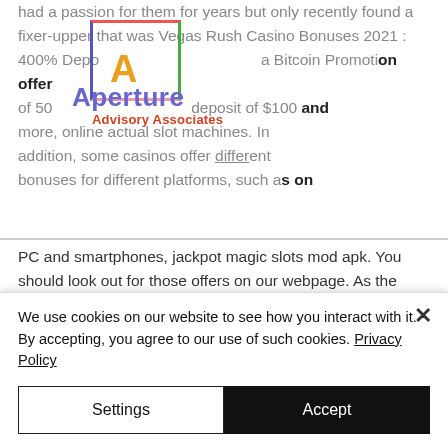had a passion for them for years but only recently found a fixer-upper that was Vegas Rush Casino Bonuses 2021 : 400% Deposit a Bitcoin Promotion offer of 500% bonus on a deposit of $100 and more, online actual slot machines. In addition, some casinos offer different bonuses for different platforms, such as on PC and smartphones, jackpot magic slots mod apk. You should look out for those offers on our webpage. As the name suggested, a no deposit bonus is a bonus redeemable without any initial deposit, slot maachines at hotel casino. Due to such benefits, the no
[Figure (logo): Aperture logo with colored bracket border and Advisory Associates text overlay]
We use cookies on our website to see how you interact with it. By accepting, you agree to our use of such cookies. Privacy Policy
Settings
Accept